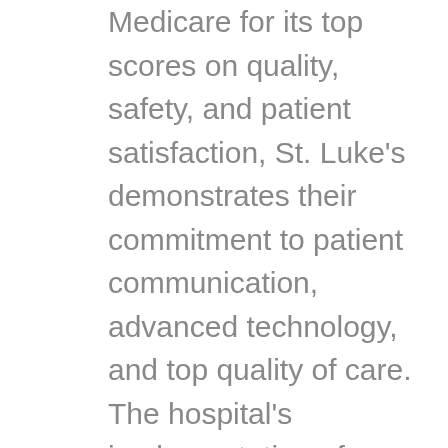Medicare for its top scores on quality, safety, and patient satisfaction, St. Luke's demonstrates their commitment to patient communication, advanced technology, and top quality of care. The hospital's implementation of MEDI+SIGN in the ED utilizes evidence-based technology that augments clinical communication, benefiting patients, their families, and hospital staff. It is often difficult for patients and their families to navigate the ED process. With MEDI+SIGN, patients and families are kept informed, improving overall